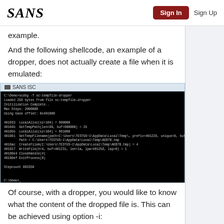SANS  Sign In  Sign Up
example.
And the following shellcode, an example of a dropper, does not actually create a file when it is emulated:
[Figure (screenshot): SANS ISC terminal window showing scdbg command output for sc-tempfile-dropper shellcode emulation, including LocalAlloc, GetTempPath, GetTempFilename, CreateFileA, WriteFile, CloseHandle, ExitProcess calls and stepcount 903350]
Of course, with a dropper, you would like to know what the content of the dropped file is. This can be achieved using option -i:
[Figure (screenshot): SANS ISC terminal window showing partial output of scdbg command with -i option for sc-tempfile-dropper]